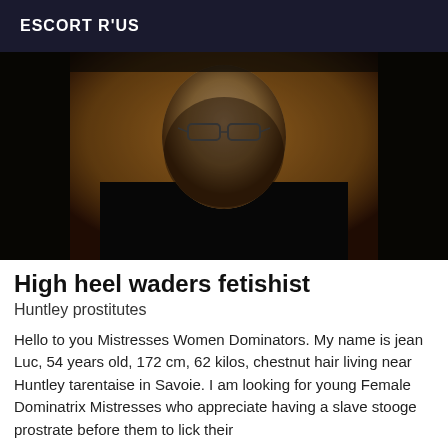ESCORT R'US
[Figure (photo): Dark photograph of a man wearing glasses and a black turtleneck, face partially lit with warm background]
High heel waders fetishist
Huntley prostitutes
Hello to you Mistresses Women Dominators. My name is jean Luc, 54 years old, 172 cm, 62 kilos, chestnut hair living near Huntley tarentaise in Savoie. I am looking for young Female Dominatrix Mistresses who appreciate having a slave stooge prostrate before them to lick their